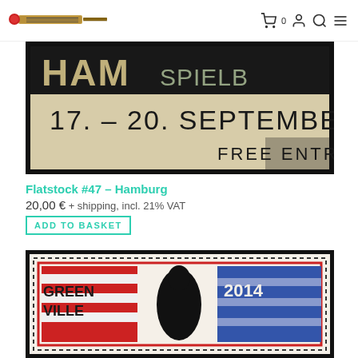Logo and navigation icons: cart (0), account, search, menu
[Figure (photo): Product photo of Flatstock #47 Hamburg event poster — cropped close-up showing bold black lettering '17.-20. SEPTEMBER' and 'FREE ENTRY' on a cream background with block print style text, dark black border frame]
Flatstock #47 – Hamburg
20,00 € + shipping, incl. 21% VAT
ADD TO BASKET
[Figure (photo): Product photo of Greenville 2014 event poster — postage stamp styled design with red, white, and blue American flag colors, bold block text 'GREENVILLE 2014', decorative stamp border, silhouetted figure]